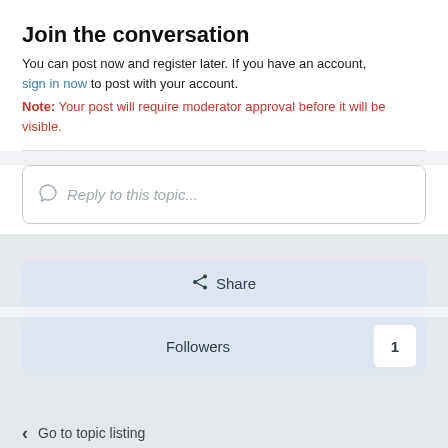Join the conversation
You can post now and register later. If you have an account, sign in now to post with your account.
Note: Your post will require moderator approval before it will be visible.
[Figure (other): Reply to this topic text input box with placeholder text and speech bubble icon]
Share
Followers 1
Go to topic listing